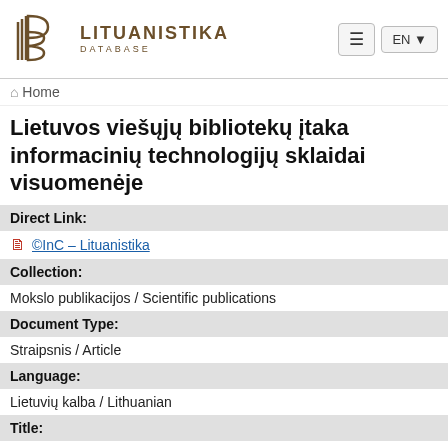Lituanistika Database — EN
Home
Lietuvos viešųjų bibliotekų įtaka informacinių technologijų sklaidai visuomenėje
Direct Link:
©InC – Lituanistika
Collection:
Mokslo publikacijos / Scientific publications
Document Type:
Straipsnis / Article
Language:
Lietuvių kalba / Lithuanian
Title:
Lietuvos viešųjų bibliotekų įtaka informacinių technologijų sklaidai visuomenėje